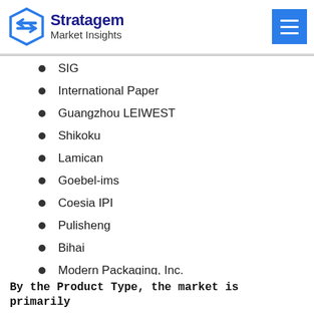Stratagem Market Insights
SIG
International Paper
Guangzhou LEIWEST
Shikoku
Lamican
Goebel-ims
Coesia IPI
Pulisheng
Bihai
Modern Packaging, Inc.
By the Product Type, the market is primarily